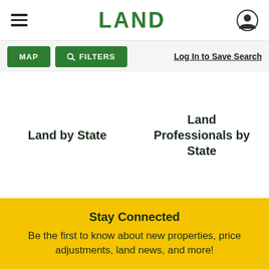LAND
MAP   FILTERS   Log In to Save Search
Land by State
Land Professionals by State
Stay Connected
Be the first to know about new properties, price adjustments, land news, and more!